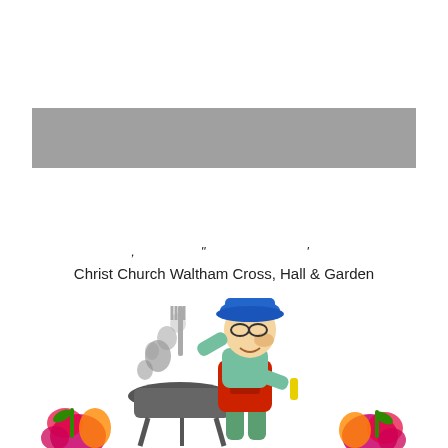[Figure (illustration): Gray horizontal banner/bar placeholder image]
, " '
Christ Church Waltham Cross, Hall & Garden
[Figure (illustration): Cartoon illustration of a man in a blue cap and red apron holding a BBQ fork, standing next to a smoking grill, with colorful flowers at the bottom]